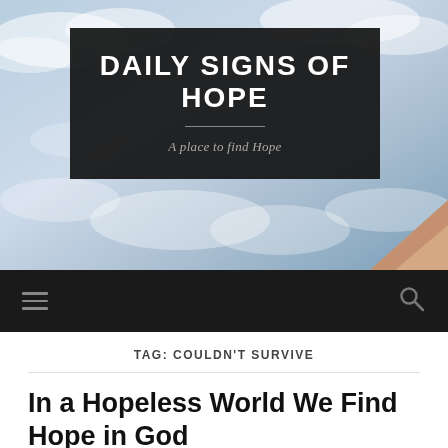[Figure (photo): Hero banner image showing a cloudy sky background with a dark semi-transparent box overlay containing site title and tagline, and a glimpse of a hand/skin in the bottom-right corner.]
DAILY SIGNS OF HOPE
A place to find Hope
Navigation bar with hamburger menu icon and search icon
TAG: COULDN'T SURVIVE
In a Hopeless World We Find Hope in God
AUGUST 30, 2021 / 0 COMMENTS